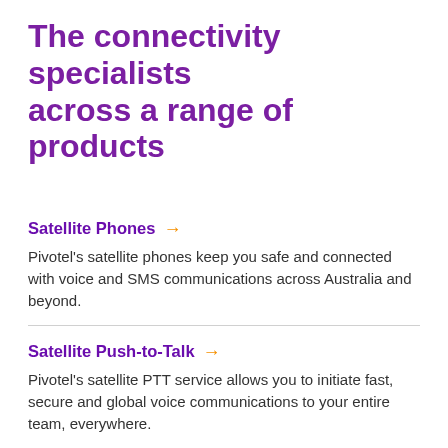The connectivity specialists across a range of products
Satellite Phones →
Pivotel's satellite phones keep you safe and connected with voice and SMS communications across Australia and beyond.
Satellite Push-to-Talk →
Pivotel's satellite PTT service allows you to initiate fast, secure and global voice communications to your entire team, everywhere.
Satellite Data (Kbps) →